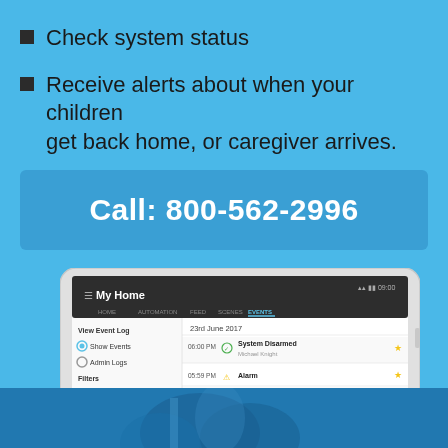Check system status
Receive alerts about when your children get back home, or caregiver arrives.
Call: 800-562-2996
[Figure (screenshot): Tablet device showing a home security app with 'My Home' header and Events tab. Displays event log for 23rd June 2017 with entries: 06:00 PM System Disarmed (Michael Knight), 05:59 PM Alarm, 01:00 PM System Armed Away (Michael Knight), 12:59 PM Front door sensor closed. Left panel shows View Event Log with Show Events and Admin Logs options, and Filters for Event Type and Date.]
[Figure (photo): Bottom strip showing a blue-toned photo of what appears to be a person with a bag or luggage, partially visible.]